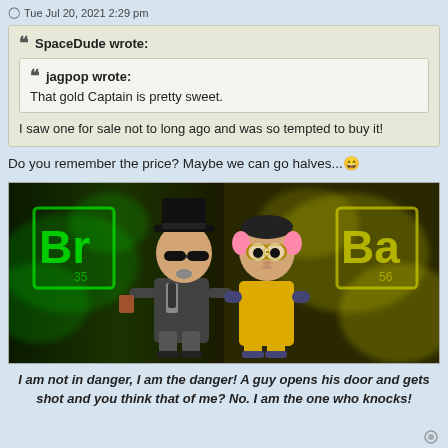Tue Jul 20, 2021 2:29 pm
SpaceDude wrote:
jagpop wrote:
That gold Captain is pretty sweet.

I saw one for sale not to long ago and was so tempted to buy it!
Do you remember the price? Maybe we can go halves... 😄
[Figure (photo): A Breaking Bad themed image showing two Funko Pop vinyl figures (Walter White/Heisenberg in black hat and suit, and Jesse Pinkman in yellow hazmat suit) against a green and yellow smoky background with periodic table element squares showing 'Br' and 'Ba' (for 'Breaking Bad').]
I am not in danger, I am the danger! A guy opens his door and gets shot and you think that of me? No. I am the one who knocks!